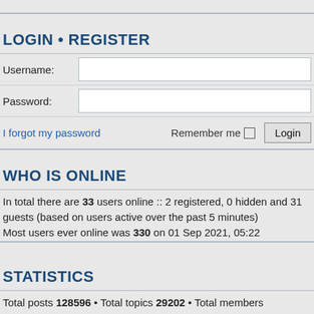LOGIN • REGISTER
Username:
Password:
I forgot my password   Remember me  Login
WHO IS ONLINE
In total there are 33 users online :: 2 registered, 0 hidden and 31 guests (based on users active over the past 5 minutes)
Most users ever online was 330 on 01 Sep 2021, 05:22
STATISTICS
Total posts 128596 • Total topics 29202 • Total members 33700 • Our newest member